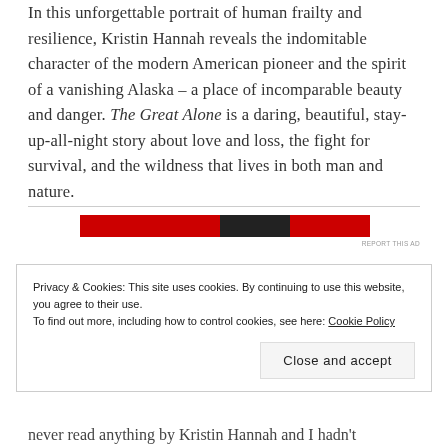In this unforgettable portrait of human frailty and resilience, Kristin Hannah reveals the indomitable character of the modern American pioneer and the spirit of a vanishing Alaska – a place of incomparable beauty and danger. The Great Alone is a daring, beautiful, stay-up-all-night story about love and loss, the fight for survival, and the wildness that lives in both man and nature.
[Figure (other): Red advertisement banner with dark center section]
REPORT THIS AD
Privacy & Cookies: This site uses cookies. By continuing to use this website, you agree to their use.
To find out more, including how to control cookies, see here: Cookie Policy
Close and accept
never read anything by Kristin Hannah and I hadn't